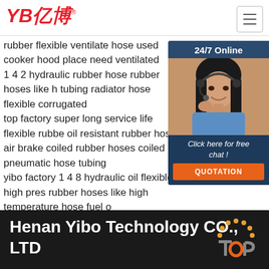[Figure (logo): YB 亿博 company logo in red with registered trademark symbol]
[Figure (screenshot): Hamburger menu button (three horizontal lines) in top right corner]
rubber flexible ventilate hose used cooker hood place need ventilated
1 4 2 hydraulic rubber hose rubber hoses like h tubing radiator hose flexible corrugated
top factory super long service life flexible rubbe oil resistant rubber hose
air brake coiled rubber hoses coiled pneumatic hose tubing
yibo factory 1 4 8 hydraulic oil flexible high pres rubber hoses like high temperature hose fuel o
best cheap vehicle washing car washing elasti rubber garden water hose
400m rubber agriculture water irrigation hose p
[Figure (photo): 24/7 Online chat widget showing a woman wearing a headset, with 'Click here for free chat!' text and orange QUOTATION button]
Henan Yibo Technology CO., LTD
[Figure (logo): TOP badge logo with orange dots arc above the word TOP in orange and gray]